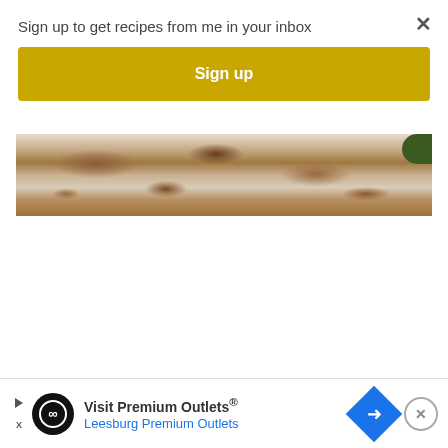Sign up to get recipes from me in your inbox
Sign up
[Figure (photo): Partial view of a baked dish on a rustic/weathered surface, cropped photo strip showing brown and white textures with a green element at top right corner]
[Figure (infographic): Advertisement banner: Visit Premium Outlets® Leesburg Premium Outlets, with black circular logo with infinity-like symbol, blue navigation arrow diamond icon, and close button]